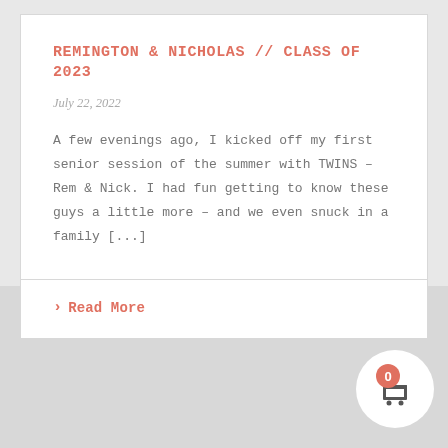REMINGTON & NICHOLAS // CLASS OF 2023
July 22, 2022
A few evenings ago, I kicked off my first senior session of the summer with TWINS – Rem & Nick. I had fun getting to know these guys a little more – and we even snuck in a family [...]
> Read More
[Figure (other): Gray area at the bottom of the page with a back-to-top button and a shopping cart button with badge showing 0]